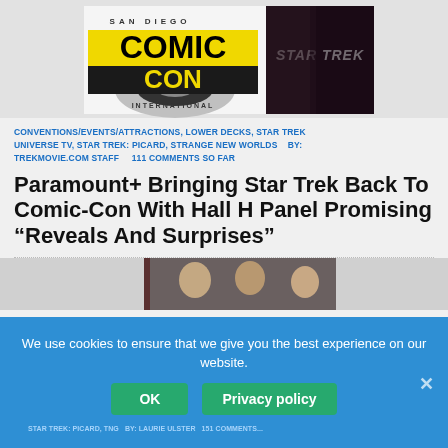[Figure (logo): San Diego Comic-Con International logo combined with Star Trek promotional banner showing characters]
CONVENTIONS/EVENTS/ATTRACTIONS, LOWER DECKS, STAR TREK UNIVERSE TV, STAR TREK: PICARD, STRANGE NEW WORLDS    BY: TREKMOVIE.COM STAFF    111 COMMENTS SO FAR
Paramount+ Bringing Star Trek Back To Comic-Con With Hall H Panel Promising “Reveals And Surprises”
[Figure (photo): Partial view of a second article image showing people faces]
We use cookies to ensure that we give you the best experience on our website.
OK    Privacy policy
STAR TREK: PICARD, TNG    BY: LAURIE ULSTER    151 COMMENTS...